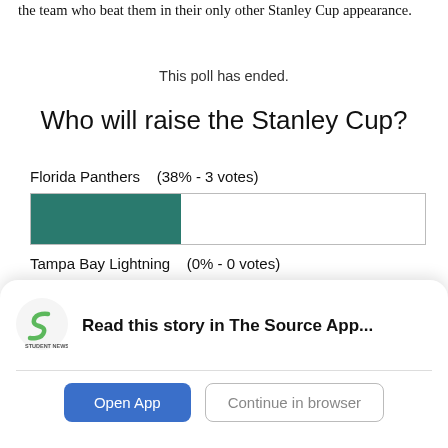the team who beat them in their only other Stanley Cup appearance.
This poll has ended.
Who will raise the Stanley Cup?
[Figure (bar-chart): Who will raise the Stanley Cup?]
[Figure (screenshot): App promotion banner: Student News Source logo with text 'Read this story in The Source App...' and two buttons: 'Open App' and 'Continue in browser']